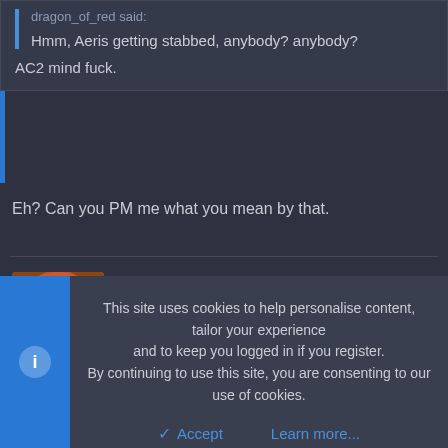dragon_of_red said:
Hmm, Aeris getting stabbed, anybody? anybody?
AC2 mind fuck.
Eh? Can you PM me what you mean by that.
Archammer
New member
Dec 12, 2009
#17
This site uses cookies to help personalise content, tailor your experience and to keep you logged in if you register.
By continuing to use this site, you are consenting to our use of cookies.
Accept  Learn more...